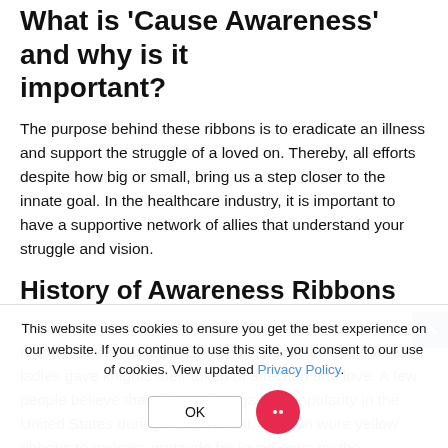What is 'Cause Awareness' and why is it important?
The purpose behind these ribbons is to eradicate an illness and support the struggle of a loved on. Thereby, all efforts despite how big or small, bring us a step closer to the innate goal. In the healthcare industry, it is important to have a supportive network of allies that understand your struggle and vision.
History of Awareness Ribbons
The history of awareness ribbons is not clear, but they take roots from the practices followed in medieval times when ladies gave knights their token of affection and love. A few people believe that ribbons first gained popularity in the United States during the Civil War. Women wore yellow ribbons to express gratitude for loved ones on the battlefield.
While there is little evidence regarding the Civil War theory, it was the first time that yellow ribbons were used in the United States. The first time in November 1979, Penney Laingen tied a yellow ribbon around an oak tree in her front yard. She was based in Tehran. Her inspiration for this new trend in the
This website uses cookies to ensure you get the best experience on our website. If you continue to use this site, you consent to our use of cookies. View updated Privacy Policy.